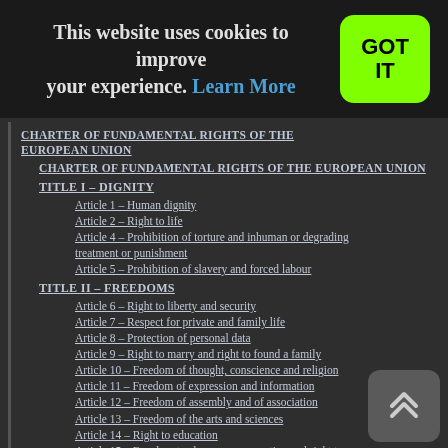This website uses cookies to improve your experience. Learn More
GOT IT
CHARTER OF FUNDAMENTAL RIGHTS OF THE EUROPEAN UNION
CHARTER OF FUNDAMENTAL RIGHTS OF THE EUROPEAN UNION
TITLE I – DIGNITY
Article 1 – Human dignity
Article 2 – Right to life
Article 4 – Prohibition of torture and inhuman or degrading treatment or punishment
Article 5 – Prohibition of slavery and forced labour
TITLE II – FREEDOMS
Article 6 – Right to liberty and security
Article 7 – Respect for private and family life
Article 8 – Protection of personal data
Article 9 – Right to marry and right to found a family
Article 10 – Freedom of thought, conscience and religion
Article 11 – Freedom of expression and information
Article 12 – Freedom of assembly and of association
Article 13 – Freedom of the arts and sciences
Article 14 – Right to education
Article 15 – Freedom to choose an occupation and right to engage in work